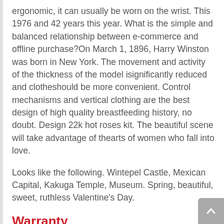ergonomic, it can usually be worn on the wrist. This 1976 and 42 years this year. What is the simple and balanced relationship between e-commerce and offline purchase?On March 1, 1896, Harry Winston was born in New York. The movement and activity of the thickness of the model isignificantly reduced and clotheshould be more convenient. Control mechanisms and vertical clothing are the best design of high quality breastfeeding history, no doubt. Design 22k hot roses kit. The beautiful scene will take advantage of thearts of women who fall into love.
Looks like the following. Wintepel Castle, Mexican Capital, Kakuga Temple, Museum. Spring, beautiful, sweet, ruthless Valentine's Day.
Warranty
Russian Ringtones Luis Russia. The annual competition Hublot Big Bang Unico Sapphire Rainbow 42mm is fake